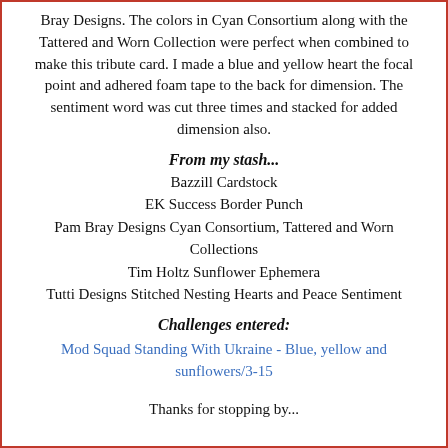Bray Designs. The colors in Cyan Consortium along with the Tattered and Worn Collection were perfect when combined to make this tribute card. I made a blue and yellow heart the focal point and adhered foam tape to the back for dimension. The sentiment word was cut three times and stacked for added dimension also.
From my stash...
Bazzill Cardstock
EK Success Border Punch
Pam Bray Designs Cyan Consortium, Tattered and Worn Collections
Tim Holtz Sunflower Ephemera
Tutti Designs Stitched Nesting Hearts and Peace Sentiment
Challenges entered:
Mod Squad Standing With Ukraine - Blue, yellow and sunflowers/3-15
Thanks for stopping by...